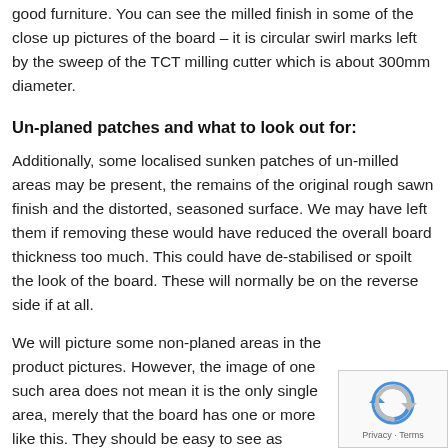good furniture.  You can see the milled finish in some of the close up pictures of the board – it is circular swirl marks left by the sweep of the TCT milling cutter which is about 300mm diameter.
Un-planed patches and what to look out for:
Additionally, some localised sunken patches of un-milled areas may be present, the remains of the original rough sawn finish and the distorted, seasoned surface.  We may have left them if removing these would have reduced the overall board thickness too much.  This could have de-stabilised or spoilt the look of the board.  These will normally be on the reverse side if at all.
We will picture some non-planed areas in the product pictures. However, the image of one such area does not mean it is the only single area, merely that the board has one or more like this. They should be easy to see as being a different colour.